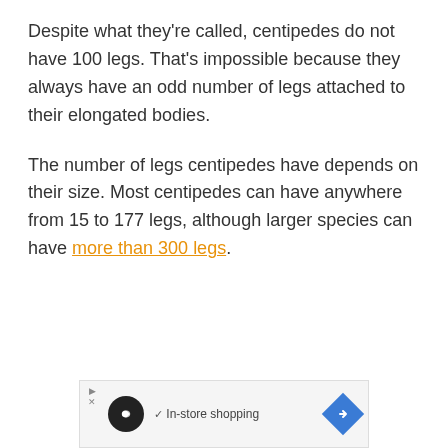Despite what they're called, centipedes do not have 100 legs. That's impossible because they always have an odd number of legs attached to their elongated bodies.
The number of legs centipedes have depends on their size. Most centipedes can have anywhere from 15 to 177 legs, although larger species can have more than 300 legs.
[Figure (other): Advertisement banner showing an infinity loop logo on a dark circle, a checkmark with 'In-store shopping' text, and a blue diamond navigation arrow icon.]